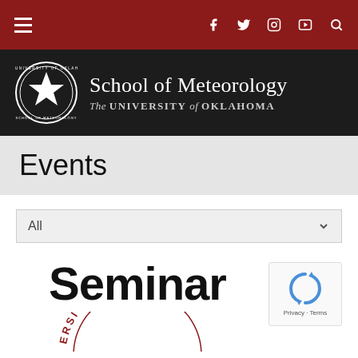[Figure (screenshot): University website navigation bar with dark red background, hamburger menu on left, social media icons (Facebook, Twitter, Instagram, YouTube) and search icon on right]
[Figure (logo): School of Meteorology, The University of Oklahoma header banner with circular seal/logo on dark background]
Events
[Figure (screenshot): Dropdown filter selector showing 'All' with chevron on light gray background]
[Figure (infographic): Seminar event card showing bold 'Seminar' text and partial University of Oklahoma circular seal logo, with reCAPTCHA widget overlay in bottom right]